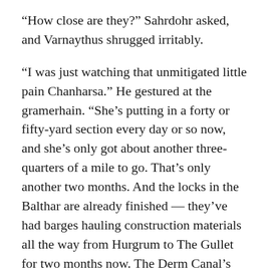“How close are they?” Sahrdohr asked, and Varnaythus shrugged irritably.
“I was just watching that unmitigated little pain Chanharsa.” He gestured at the gramerhain. “She’s putting in a forty or fifty-yard section every day or so now, and she’s only got about another three-quarters of a mile to go. That’s only another two months. And the locks in the Balthar are already finished — they’ve had barges hauling construction materials all the way from Hurgrum to The Gullet for two months now. The Derm Canal’s taking longer, but I expect it to be finished by next spring, even allowing for construction shutting down over the winter months. In fact, they might even get it done before first snowfall, if the weather favors them over the summer.”